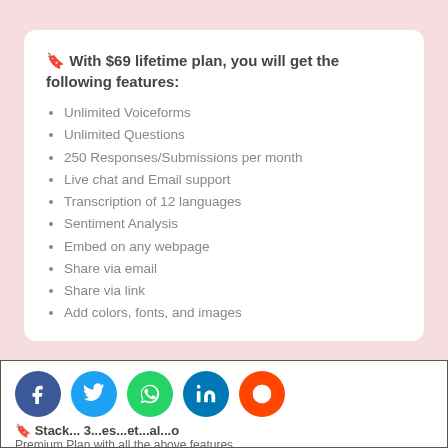🔖 With $69 lifetime plan, you will get the following features:
Unlimited Voiceforms
Unlimited Questions
250 Responses/Submissions per month
Live chat and Email support
Transcription of 12 languages
Sentiment Analysis
Embed on any webpage
Share via email
Share via link
Add colors, fonts, and images
🔖 Stack... 3...es...et...al...o Premium Plan with all the above features...